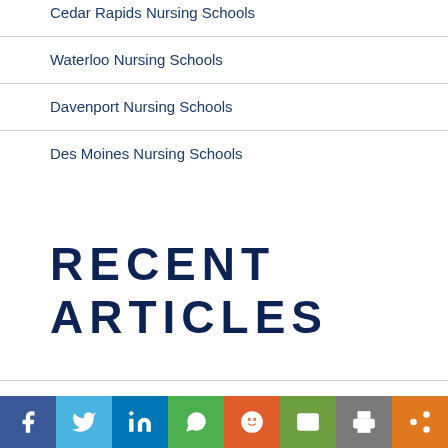Cedar Rapids Nursing Schools
Waterloo Nursing Schools
Davenport Nursing Schools
Des Moines Nursing Schools
RECENT ARTICLES
Critical Care Registered Nurse
[Figure (infographic): Social media sharing bar with icons for Facebook, Twitter, LinkedIn, WhatsApp, Reddit, Email, Print, and Share]